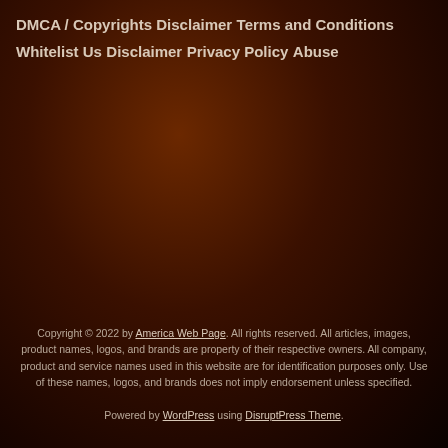DMCA / Copyrights Disclaimer
Terms and Conditions
Whitelist Us
Disclaimer
Privacy Policy
Abuse
Copyright © 2022 by America Web Page. All rights reserved. All articles, images, product names, logos, and brands are property of their respective owners. All company, product and service names used in this website are for identification purposes only. Use of these names, logos, and brands does not imply endorsement unless specified.
Powered by WordPress using DisruptPress Theme.